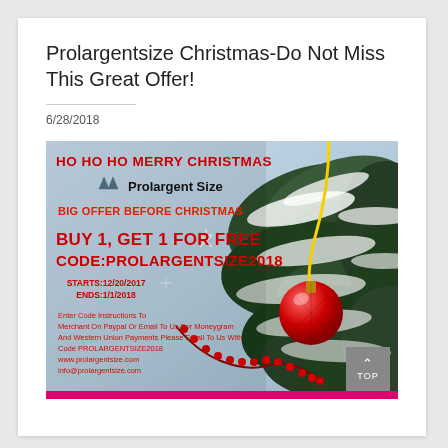Prolargentsize Christmas-Do Not Miss This Great Offer!
6/28/2018
[Figure (infographic): Christmas promotional advertisement for Prolargentsize. Background shows snow-covered pine branches with a red ornament ball and red berry garland. Text overlay reads: HO HO HO MERRY CHRISTMAS, Prolargentsize logo with arrow icons, BIG OFFER BEFORE CHRISTMAS, BUY 1, GET 1 FOR FREE, CODE:PROLARGENTSIZE2018, STARTS:12/20/2017, ENDS:1/1/2018, Enter Code Instructions To Merchant On Paypal Or Email To Us For Moneygram And Western Union Payments Please Email To Us With Code PROLARGENTSIZE2018, www.prolargentsize.com, info@prolargentsize.com. Pink bar at bottom.]